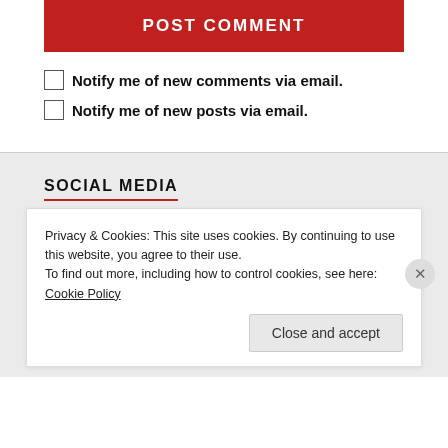POST COMMENT
Notify me of new comments via email.
Notify me of new posts via email.
SOCIAL MEDIA
[Figure (illustration): Social media icons: Facebook, Twitter, Instagram, YouTube]
Privacy & Cookies: This site uses cookies. By continuing to use this website, you agree to their use.
To find out more, including how to control cookies, see here: Cookie Policy
Close and accept